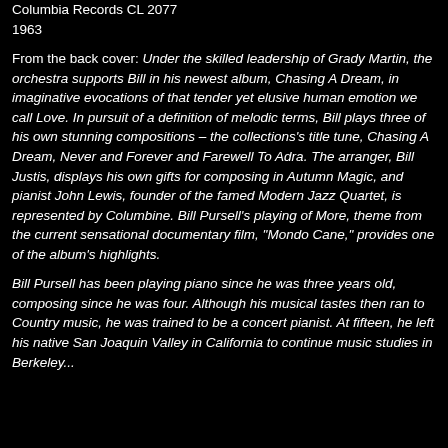Columbia Records CL 2077
1963
From the back cover: Under the skilled leadership of Grady Martin, the orchestra supports Bill in his newest album, Chasing A Dream, in imaginative evocations of that tender yet elusive human emotion we call Love. In pursuit of a definition of melodic terms, Bill plays three of his own stunning compositions – the collections's title tune, Chasing A Dream, Never and Forever and Farewell To Adra. The arranger, Bill Justis, displays his own gifts for composing in Autumn Magic, and pianist John Lewis, founder of the famed Modern Jazz Quartet, is represented by Columbine. Bill Pursell's playing of More, theme from the current sensational documentary film, "Mondo Cane," provides one of the album's highlights.
Bill Pursell has been playing piano since he was three years old, composing since he was four. Although his musical tastes then ran to Country music, he was trained to be a concert pianist. At fifteen, he left his native San Joaquin Valley in California to continue music studies in Berkeley...